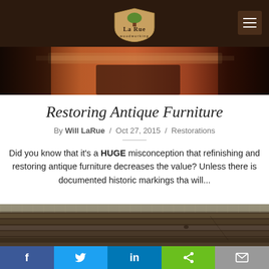La Rue Woodworking
[Figure (photo): Close-up of a wooden furniture surface, reddish-brown finish, top photo strip]
Restoring Antique Furniture
By Will LaRue / Oct 27, 2015 / Restorations
Did you know that it's a HUGE misconception that refinishing and restoring antique furniture decreases the value? Unless there is documented historic markings tha will...
[Figure (photo): Weathered wooden planks with corrugated metal roof, outdoor barn scene]